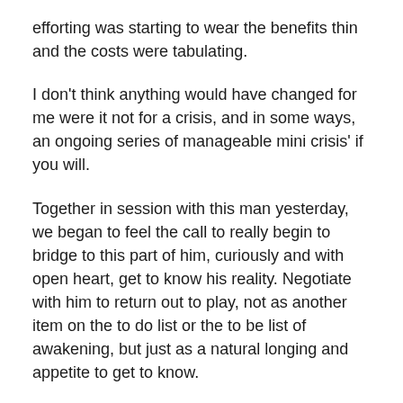efforting was starting to wear the benefits thin and the costs were tabulating.
I don't think anything would have changed for me were it not for a crisis, and in some ways, an ongoing series of manageable mini crisis' if you will.
Together in session with this man yesterday, we began to feel the call to really begin to bridge to this part of him, curiously and with open heart, get to know his reality. Negotiate with him to return out to play, not as another item on the to do list or the to be list of awakening, but just as a natural longing and appetite to get to know.
Then we felt THAT to be the ending of the efforting, as the efforting was actually being used to keep this part's world and reality suppressed inside, when life is actually ripening this